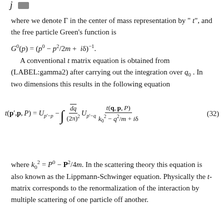where we denote Γ in the center of mass representation by "t", and the free particle Green's function is
A conventional t matrix equation is obtained from (LABEL:gamma2) after carrying out the integration over q0. In two dimensions this results in the following equation
where k_0^2 = P^0 - P^2/4m. In the scattering theory this equation is also known as the Lippmann-Schwinger equation. Physically the t-matrix corresponds to the renormalization of the interaction by multiple scattering of one particle off another.